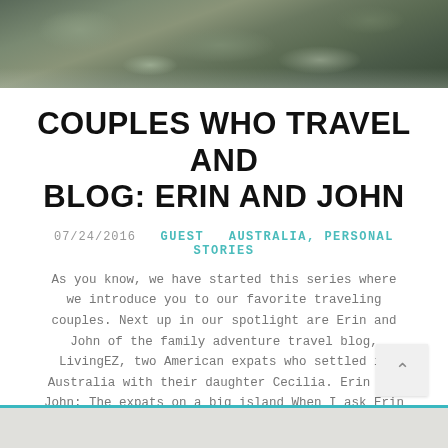[Figure (photo): Header photo of rocky landscape/terrain in muted greens and grays]
COUPLES WHO TRAVEL AND BLOG: ERIN AND JOHN
07/24/2016  GUEST  AUSTRALIA, PERSONAL STORIES
As you know, we have started this series where we introduce you to our favorite traveling couples. Next up in our spotlight are Erin and John of the family adventure travel blog, LivingEZ, two American expats who settled in Australia with their daughter Cecilia. Erin and John: The expats on a big island When I ask Erin and John how they met, at th[...]